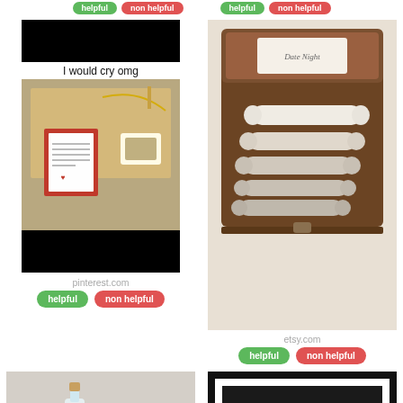[Figure (screenshot): Top partial row showing two 'helpful'/'non helpful' button pairs from previous cards]
[Figure (photo): Pinterest image showing jewelry gift with text 'I would cry omg', with black bars at top and bottom, source: pinterest.com]
I would cry omg
pinterest.com
[Figure (photo): Etsy image showing a wooden box with rolled paper scrolls and a 'Date Night' label, source: etsy.com]
etsy.com
helpful
non helpful
helpful
non helpful
[Figure (photo): Photo of a tiny glass bottle with cork with a label reading 'Key from my']
[Figure (photo): Black framed print reading '1 Year Together 12 MONTHS 52 weeks 365 days']